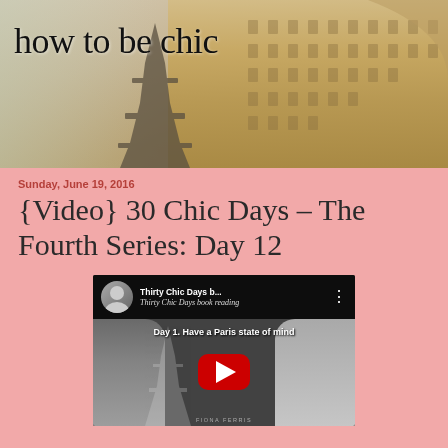[Figure (photo): Blog header image for 'how to be chic' showing the Eiffel Tower and Parisian buildings with a warm vintage color tone, with the blog title 'how to be chic' overlaid in serif font]
Sunday, June 19, 2016
{Video} 30 Chic Days – The Fourth Series: Day 12
[Figure (screenshot): YouTube video thumbnail showing 'Thirty Chic Days b... Thirty Chic Days book reading' with subtitle 'Day 1. Have a Paris state of mind' and a red YouTube play button, with black and white imagery of two women and the Eiffel Tower]